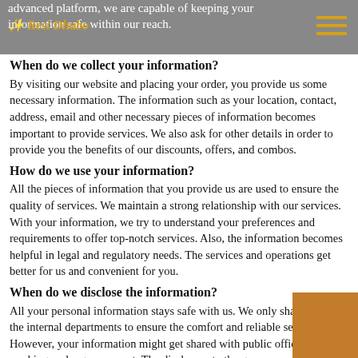advanced platform, we are capable of keeping your information safe within our reach.
When do we collect your information?
By visiting our website and placing your order, you provide us some necessary information. The information such as your location, contact, address, email and other necessary pieces of information becomes important to provide services. We also ask for other details in order to provide you the benefits of our discounts, offers, and combos.
How do we use your information?
All the pieces of information that you provide us are used to ensure the quality of services. We maintain a strong relationship with our services. With your information, we try to understand your preferences and requirements to offer top-notch services. Also, the information becomes helpful in legal and regulatory needs. The services and operations get better for us and convenient for you.
When do we disclose the information?
All your personal information stays safe with us. We only share it with the internal departments to ensure the comfort and reliable services. However, your information might get shared with public officials, working under government. The disclosure to the government only happens when it is required by the law and regulation.